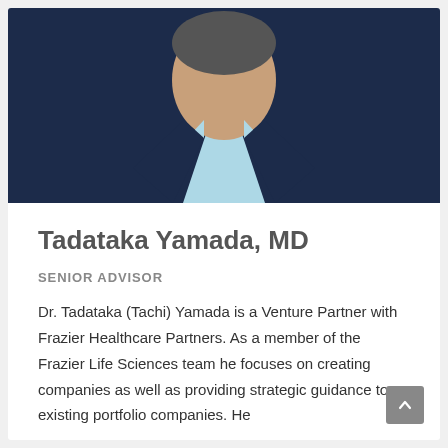[Figure (photo): Professional headshot of Tadataka Yamada, MD wearing a dark navy suit jacket and light blue dress shirt, photographed from the chest up against a neutral background.]
Tadataka Yamada, MD
SENIOR ADVISOR
Dr. Tadataka (Tachi) Yamada is a Venture Partner with Frazier Healthcare Partners. As a member of the Frazier Life Sciences team he focuses on creating companies as well as providing strategic guidance to existing portfolio companies. He